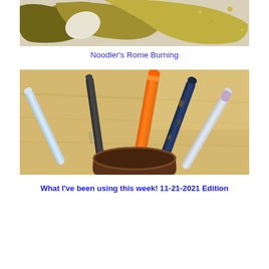[Figure (photo): Close-up photo of olive/yellow-green ink splattered or painted on a white surface, showing organic blob shapes]
Noodler's Rome Burning
[Figure (photo): Photo of several fountain pens and writing instruments standing in a dark brown ceramic cup on a wooden surface. Pens include a light blue/white pen, a dark/black pen, a bright orange pen, a blue marbled/tortoiseshell pen, and a white pen.]
What I've been using this week! 11-21-2021 Edition